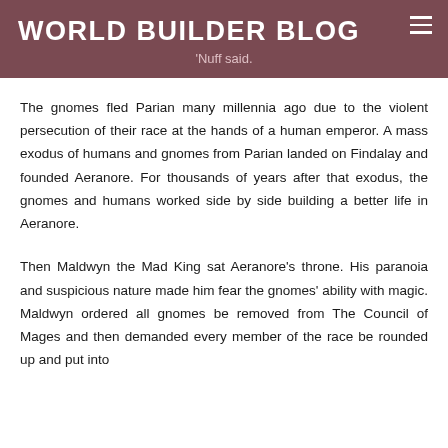WORLD BUILDER BLOG
'Nuff said.
The gnomes fled Parian many millennia ago due to the violent persecution of their race at the hands of a human emperor. A mass exodus of humans and gnomes from Parian landed on Findalay and founded Aeranore. For thousands of years after that exodus, the gnomes and humans worked side by side building a better life in Aeranore.
Then Maldwyn the Mad King sat Aeranore's throne. His paranoia and suspicious nature made him fear the gnomes' ability with magic. Maldwyn ordered all gnomes be removed from The Council of Mages and then demanded every member of the race be rounded up and put into